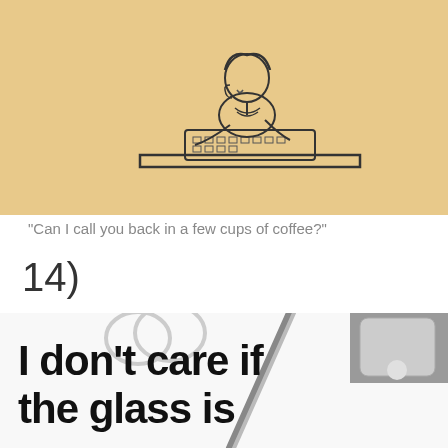[Figure (illustration): Pen and ink style illustration of a woman sitting at a desk working on a laptop/keyboard, on a tan/beige background]
“Can I call you back in a few cups of coffee?”
14)
[Figure (photo): Photo of a white surface with a pencil, phone, and paper clips showing large bold text: 'I don't care if the glass is half full or']